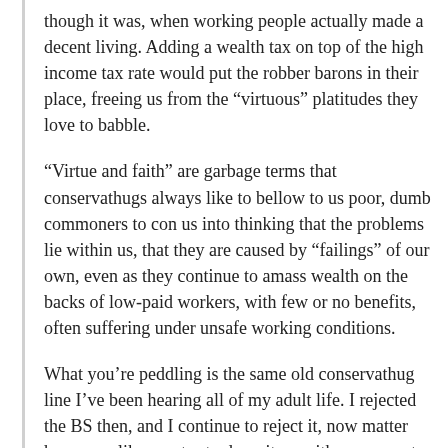though it was, when working people actually made a decent living. Adding a wealth tax on top of the high income tax rate would put the robber barons in their place, freeing us from the “virtuous” platitudes they love to babble.
“Virtue and faith” are garbage terms that conservathugs always like to bellow to us poor, dumb commoners to con us into thinking that the problems lie within us, that they are caused by “failings” of our own, even as they continue to amass wealth on the backs of low-paid workers, with few or no benefits, often suffering under unsafe working conditions.
What you’re peddling is the same old conservathug line I’ve been hearing all of my adult life. I rejected the BS then, and I continue to reject it, now matter how guys like you try to dress it up with a new coat of cheap varnish.
Reply